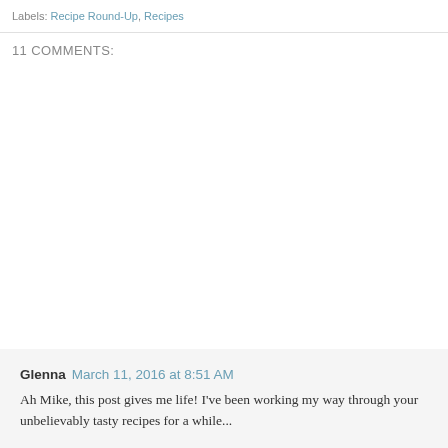Labels: Recipe Round-Up, Recipes
11 COMMENTS:
Glenna  March 11, 2016 at 8:51 AM
Ah Mike, this post gives me life! I've been working my way through your unbelievably tasty recipes for a while...